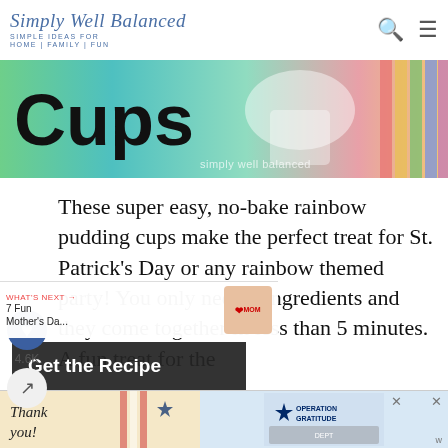Simply Well Balanced — SIMPLE IDEAS FOR HOME|FAMILY|FUN
[Figure (photo): Hero banner image showing colorful rainbow-themed background with the word 'Cups' in bold black text, and 'simply wellbalanced' watermark, with colorful stripes on the right side]
These super easy, no-bake rainbow pudding cups make the perfect treat for St. Patrick's Day or any rainbow themed party! You only need 3 ingredients and they come together in less than 5 minutes. A fun treat for the whole family to make!
4.6K
[Figure (infographic): WHAT'S NEXT → 7 Fun Mother's Da... promotional thumbnail with heart/MOM image]
[Figure (infographic): Get the Recipe dark overlay button]
[Figure (infographic): Advertisement banner: Thank you handwritten text with American flag imagery, Operation Gratitude logo, firefighters photo, with close buttons]